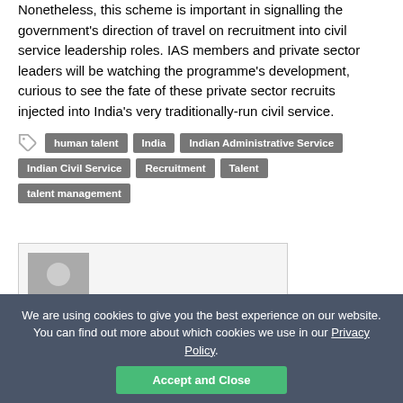Nonetheless, this scheme is important in signalling the government's direction of travel on recruitment into civil service leadership roles. IAS members and private sector leaders will be watching the programme's development, curious to see the fate of these private sector recruits injected into India's very traditionally-run civil service.
human talent
India
Indian Administrative Service
Indian Civil Service
Recruitment
Talent
talent management
[Figure (other): Author avatar placeholder image showing a generic person silhouette on grey background]
About Abhimanyu Kumar
We are using cookies to give you the best experience on our website. You can find out more about which cookies we use in our Privacy Policy.
Accept and Close